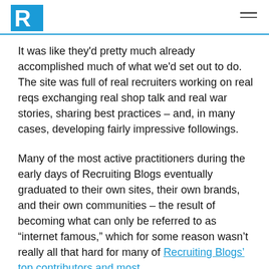Recruiting Blogs logo and navigation menu
It was like they'd pretty much already accomplished much of what we'd set out to do. The site was full of real recruiters working on real reqs exchanging real shop talk and real war stories, sharing best practices – and, in many cases, developing fairly impressive followings.
Many of the most active practitioners during the early days of Recruiting Blogs eventually graduated to their own sites, their own brands, and their own communities – the result of becoming what can only be referred to as “internet famous,” which for some reason wasn’t really all that hard for many of Recruiting Blogs' top contributors and most